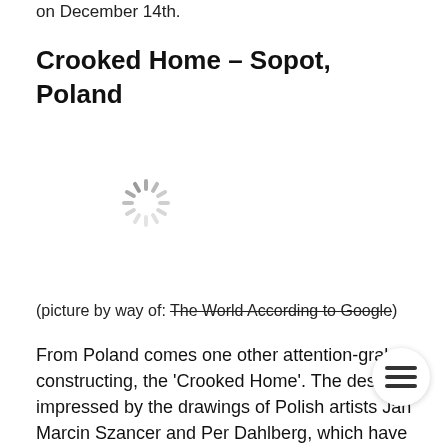on December 14th.
Crooked Home – Sopot, Poland
[Figure (other): Loading spinner icon (image placeholder) for the Crooked Home building photo]
(picture by way of: The World According to Google)
From Poland comes one other attention-grab constructing, the 'Crooked Home'. The design impressed by the drawings of Polish artists Jan Marcin Szancer and Per Dahlberg, which have a